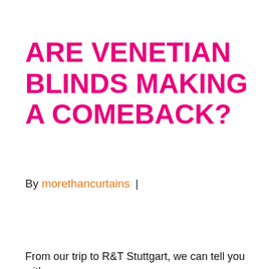ARE VENETIAN BLINDS MAKING A COMEBACK?
By morethancurtains  |
From our trip to R&T Stuttgart, we can tell you with